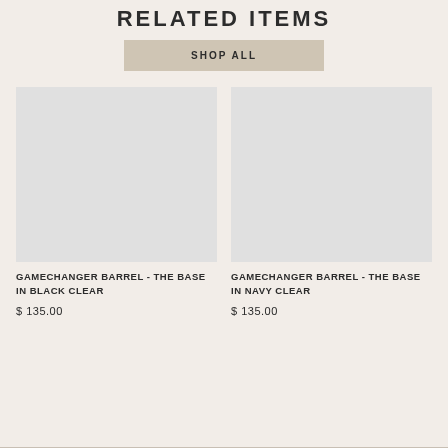RELATED ITEMS
SHOP ALL
[Figure (photo): Product image placeholder for Gamechanger Barrel - The Base in Black Clear]
GAMECHANGER BARREL - THE BASE IN BLACK CLEAR
$ 135.00
[Figure (photo): Product image placeholder for Gamechanger Barrel - The Base in Navy Clear]
GAMECHANGER BARREL - THE BASE IN NAVY CLEAR
$ 135.00